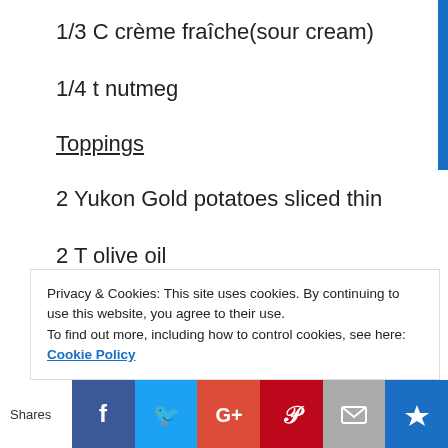1/3 C crème fraîche(sour cream)
1/4 t nutmeg
Toppings
2 Yukon Gold potatoes sliced thin
2 T olive oil
1 onion sliced thin
1 T olive oil
Privacy & Cookies: This site uses cookies. By continuing to use this website, you agree to their use.
To find out more, including how to control cookies, see here: Cookie Policy
Shares [Facebook] [Twitter] [Google+] [Pinterest] [Email] [Crown]